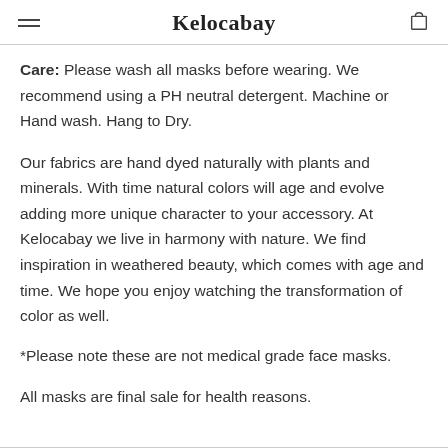Kelocabay
Care: Please wash all masks before wearing. We recommend using a PH neutral detergent. Machine or Hand wash. Hang to Dry.
Our fabrics are hand dyed naturally with plants and minerals. With time natural colors will age and evolve adding more unique character to your accessory. At Kelocabay we live in harmony with nature. We find inspiration in weathered beauty, which comes with age and time. We hope you enjoy watching the transformation of color as well.
*Please note these are not medical grade face masks.
All masks are final sale for health reasons.